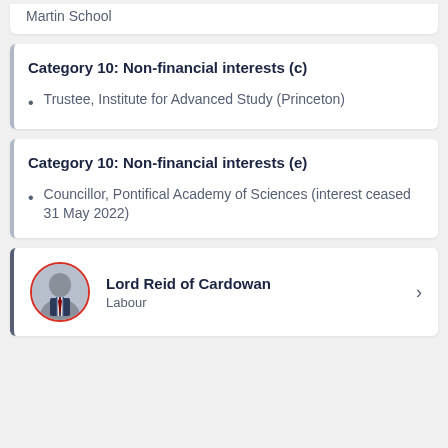Martin School
Category 10: Non-financial interests (c)
Trustee, Institute for Advanced Study (Princeton)
Category 10: Non-financial interests (e)
Councillor, Pontifical Academy of Sciences (interest ceased 31 May 2022)
Lord Reid of Cardowan
Labour